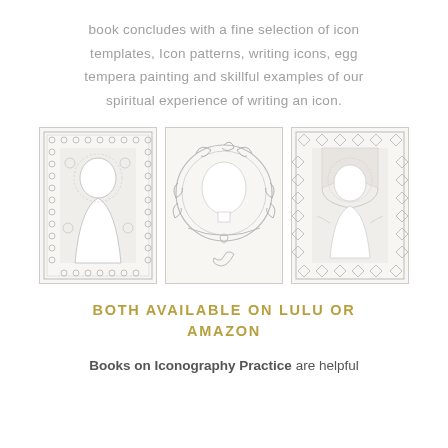book concludes with a fine selection of icon templates, Icon patterns, writing icons, egg tempera painting and skillful examples of our spiritual experience of writing an icon.
[Figure (illustration): Three pencil/line-art drawings of Orthodox icon templates: left shows a Madonna figure with ornate floral border pattern, center shows an ornate halo (nimbus) with scrollwork, right shows a robed figure with geometric/diamond border pattern.]
BOTH AVAILABLE ON LULU OR AMAZON
Books on Iconography Practice are helpful